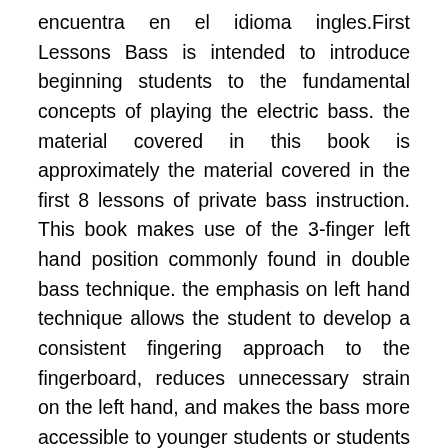encuentra en el idioma ingles.First Lessons Bass is intended to introduce beginning students to the fundamental concepts of playing the electric bass. the material covered in this book is approximately the material covered in the first 8 lessons of private bass instruction. This book makes use of the 3-finger left hand position commonly found in double bass technique. the emphasis on left hand technique allows the student to develop a consistent fingering approach to the fingerboard, reduces unnecessary strain on the left hand, and makes the bass more accessible to younger students or students with small hands. After the left hand technique has been established, the book introduces the student to important elements of bass line construction including blues patterns, the root-fifth relationship, and common rhythmic patterns.